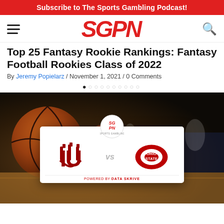Subscribe to The Sports Gambling Podcast!
[Figure (logo): SGPN Sports Gambling Podcast Network logo in red italic bold letters]
Top 25 Fantasy Rookie Rankings: Fantasy Football Rookies Class of 2022
By Jeremy Popielarz / November 1, 2021 / 0 Comments
[Figure (photo): Basketball court background with SGPN badge and Indiana Hoosiers vs Ohio State Buckeyes matchup card overlay with team logos and DataSkrive powered-by label]